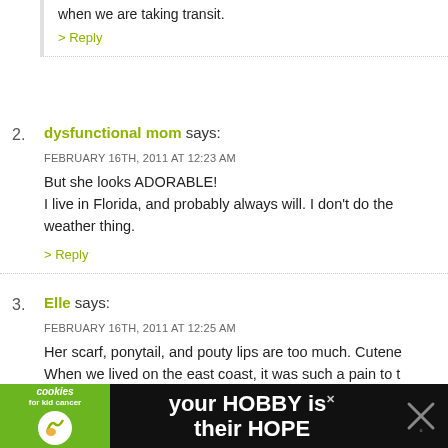when we are taking transit.
> Reply
2. dysfunctional mom says: FEBRUARY 16TH, 2011 AT 12:23 AM
But she looks ADORABLE!
I live in Florida, and probably always will. I don't do the weather thing.
> Reply
3. Elle says: FEBRUARY 16TH, 2011 AT 12:25 AM
Her scarf, ponytail, and pouty lips are too much. Cutene… When we lived on the east coast, it was such a pain to t… that was needed for my daughter just to walk around th… in the winter time. Wrangling all of that together before the door was so exhausting, I felt like I needed a nap be… our house.
[Figure (infographic): Advertisement banner: cookies for kid cancer logo on green background, text 'your HOBBY is their HOPE' in white on dark background]